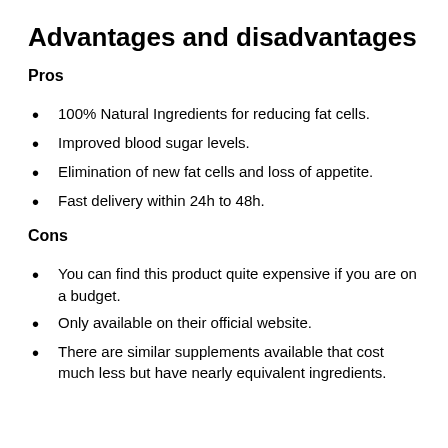Advantages and disadvantages
Pros
100% Natural Ingredients for reducing fat cells.
Improved blood sugar levels.
Elimination of new fat cells and loss of appetite.
Fast delivery within 24h to 48h.
Cons
You can find this product quite expensive if you are on a budget.
Only available on their official website.
There are similar supplements available that cost much less but have nearly equivalent ingredients.